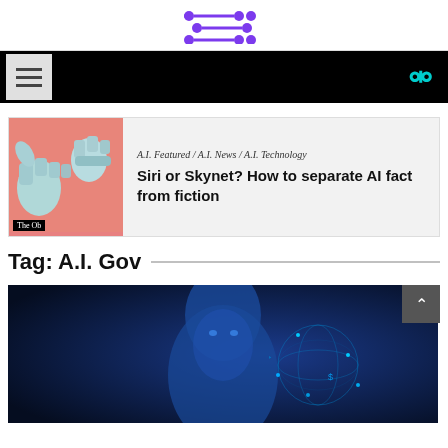[Figure (logo): Purple stylized logo with three horizontal arrows/connections symbol]
[Figure (screenshot): Black navigation bar with hamburger menu icon on left and cyan search icon on right]
[Figure (illustration): Featured article card with robot hands image on pink background with The Observer label]
A.I. Featured / A.I. News / A.I. Technology
Siri or Skynet? How to separate AI fact from fiction
Tag: A.I. Gov
[Figure (photo): Blue-toned photo of an AI face with digital globe and data visualization elements]